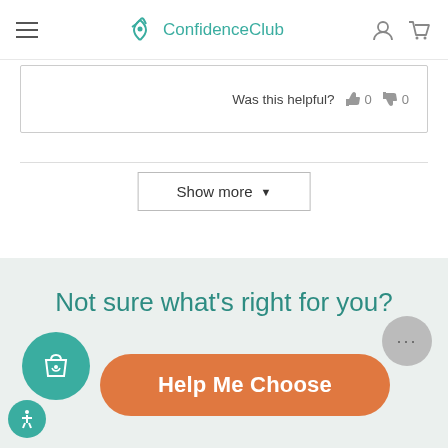ConfidenceClub
Was this helpful? 0 0
Show more
Not sure what's right for you?
Help Me Choose